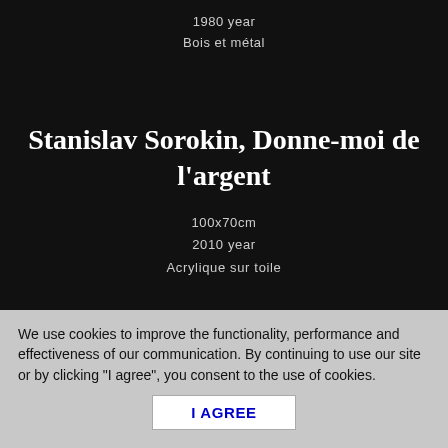1980 year
Bois et métal
Stanislav Sorokin, Donne-moi de l'argent
100x70cm
2010 year
Acrylique sur toile
We use cookies to improve the functionality, performance and effectiveness of our communication. By continuing to use our site or by clicking "I agree", you consent to the use of cookies.